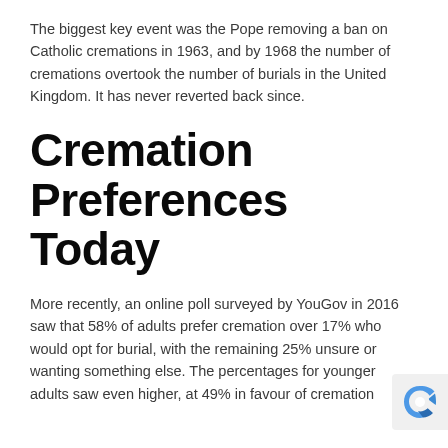The biggest key event was the Pope removing a ban on Catholic cremations in 1963, and by 1968 the number of cremations overtook the number of burials in the United Kingdom. It has never reverted back since.
Cremation Preferences Today
More recently, an online poll surveyed by YouGov in 2016 saw that 58% of adults prefer cremation over 17% who would opt for burial, with the remaining 25% unsure or wanting something else. The percentages for younger adults saw even higher, at 49% in favour of cremation